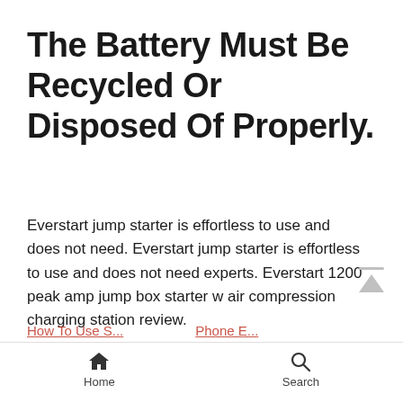The Battery Must Be Recycled Or Disposed Of Properly.
Everstart jump starter is effortless to use and does not need. Everstart jump starter is effortless to use and does not need experts. Everstart 1200 peak amp jump box starter w air compression charging station review.
Home | Search